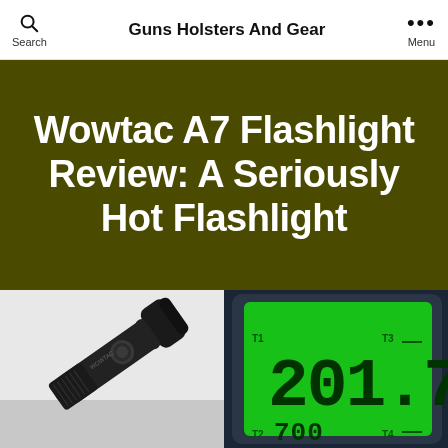Guns Holsters And Gear | Search | Menu
Wowtac A7 Flashlight Review: A Seriously Hot Flashlight
[Figure (photo): Black Wowtac A7 tactical flashlight with circular side button, diagonal placement on white background]
[Figure (photo): Green backlit digital thermometer display showing readings: T1 201.7, T2 700, T3, T4 labels visible]